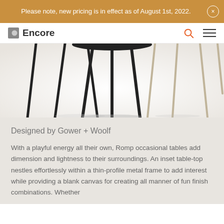Please note, new pricing is in effect as of August 1st, 2022.
Encore
[Figure (photo): Multiple Romp occasional tables shown from below, featuring thin black and light-colored metal legs on a white background.]
Designed by Gower + Woolf
With a playful energy all their own, Romp occasional tables add dimension and lightness to their surroundings. An inset table-top nestles effortlessly within a thin-profile metal frame to add interest while providing a blank canvas for creating all manner of fun finish combinations. Whether